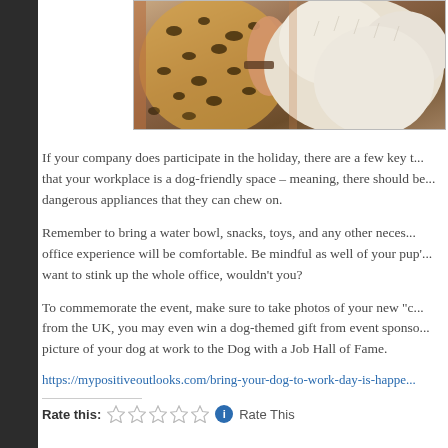[Figure (photo): Person wearing leopard print clothing holding a fluffy dog, partial view showing top portion of the image]
If your company does participate in the holiday, there are a few key things to make sure that your workplace is a dog-friendly space – meaning, there should be no dangerous appliances that they can chew on.
Remember to bring a water bowl, snacks, toys, and any other necessities so that their office experience will be comfortable. Be mindful as well of your pup's hygiene – you wouldn't want to stink up the whole office, wouldn't you?
To commemorate the event, make sure to take photos of your new "co-worker." If you're from the UK, you may even win a dog-themed gift from event sponsors by submitting a picture of your dog at work to the Dog with a Job Hall of Fame.
https://mypositiveoutlooks.com/bring-your-dog-to-work-day-is-happe...
Rate this: ☆☆☆☆☆ Rate This